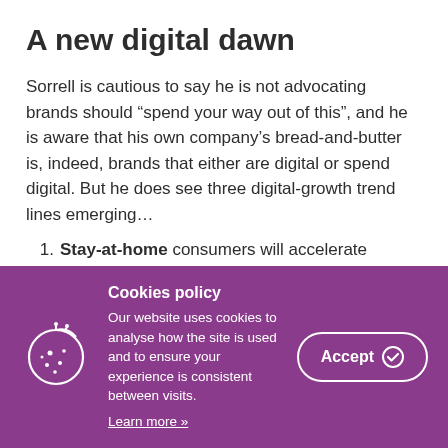A new digital dawn
Sorrell is cautious to say he is not advocating brands should “spend your way out of this”, and he is aware that his own company’s bread-and-butter is, indeed, brands that either are digital or spend digital. But he does see three digital-growth trend lines emerging…
Stay-at-home consumers will accelerate media, ecommerce and communications
[Figure (infographic): Cookie policy banner with purple background, cookie icon on left, policy text in center, and Accept button on right.]